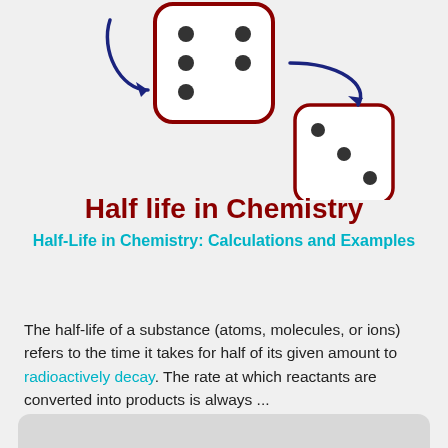[Figure (illustration): Diagram showing two dice connected by curved arrows. A larger red-bordered die showing 5 dots on the left top, with a blue curved arrow pointing right to it from the upper left, and another blue curved arrow pointing right-downward to a smaller red-bordered die showing 3 dots on the lower right.]
Half life in Chemistry
Half-Life in Chemistry: Calculations and Examples
The half-life of a substance (atoms, molecules, or ions) refers to the time it takes for half of its given amount to radioactively decay. The rate at which reactants are converted into products is always ...
Read More